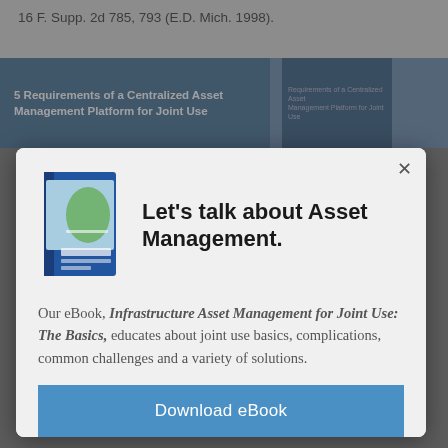16 F. Supp. 2d 785, 793 (E.D. Mich. 1998).
[Figure (screenshot): Banner image showing '5 Requirements of a Centralized Asset Management Platform for Joint Use' with a dark blue background and a book cover thumbnail on the right.]
[Figure (screenshot): Modal popup dialog on a dimmed background. Contains a book cover image on the left and the title 'Let's talk about Asset Management.' on the right. Below is descriptive text about an eBook and a blue Download eBook button.]
Let's talk about Asset Management.
Our eBook, Infrastructure Asset Management for Joint Use: The Basics, educates about joint use basics, complications, common challenges and a variety of solutions.
Download eBook
Last Name